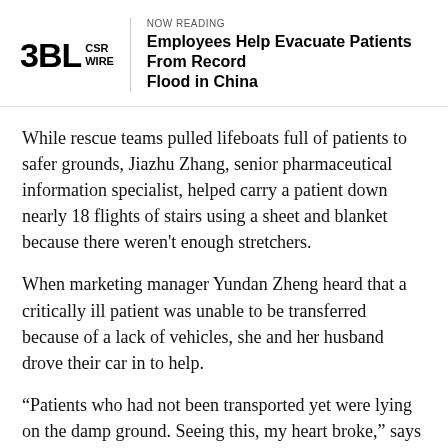3BL CSR WIRE
Employees Help Evacuate Patients From Record Flood in China
While rescue teams pulled lifeboats full of patients to safer grounds, Jiazhu Zhang, senior pharmaceutical information specialist, helped carry a patient down nearly 18 flights of stairs using a sheet and blanket because there weren't enough stretchers.
When marketing manager Yundan Zheng heard that a critically ill patient was unable to be transferred because of a lack of vehicles, she and her husband drove their car in to help.
“Patients who had not been transported yet were lying on the damp ground. Seeing this, my heart broke,” says Zheng. “I saw someone needed help and I was able to help, so I stood up. Compared with the frontline rescue team,